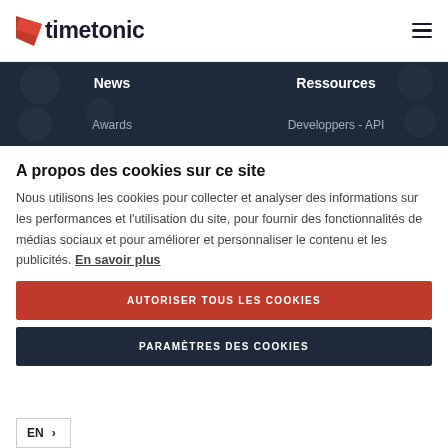timetonic — navigation header with logo and hamburger menu
[Figure (screenshot): Dark navigation bar with News, Ressources, Awards, Developpers - API menu items on a dark blue background with circle dot decorations]
A propos des cookies sur ce site
Nous utilisons les cookies pour collecter et analyser des informations sur les performances et l'utilisation du site, pour fournir des fonctionnalités de médias sociaux et pour améliorer et personnaliser le contenu et les publicités. En savoir plus
AUTORISER TOUS LES COOKIES
PARAMÈTRES DES COOKIES
EN >